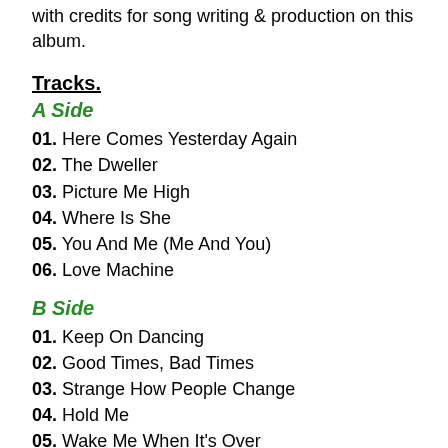with credits for song writing & production on this album.
Tracks.
A Side
01. Here Comes Yesterday Again
02. The Dweller
03. Picture Me High
04. Where Is She
05. You And Me (Me And You)
06. Love Machine
B Side
01. Keep On Dancing
02. Good Times, Bad Times
03. Strange How People Change
04. Hold Me
05. Wake Me When It's Over